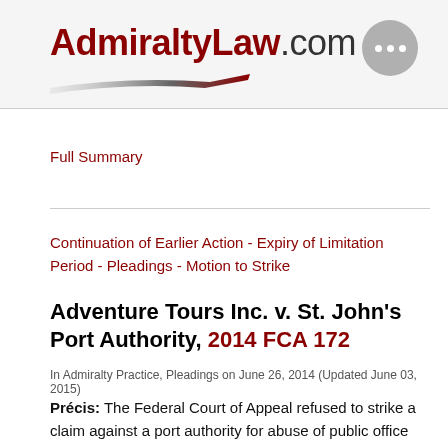AdmiraltyLaw.com
Full Summary
Continuation of Earlier Action - Expiry of Limitation Period - Pleadings - Motion to Strike
Adventure Tours Inc. v. St. John's Port Authority, 2014 FCA 172
In Admiralty Practice, Pleadings on June 26, 2014 (Updated June 03, 2015)
Précis: The Federal Court of Appeal refused to strike a claim against a port authority for abuse of public office as being made out of time when it was a continuation of an earlier action and